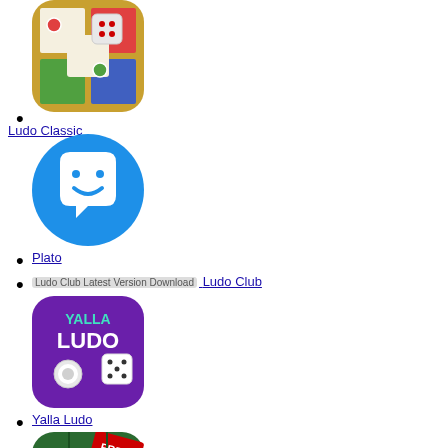[Figure (illustration): Ludo Classic app icon - colorful ludo board with red dice]
Ludo Classic
[Figure (illustration): Plato app icon - blue circle with white smiley face chat bubble]
Plato
Ludo Club Latest Version Download Ludo Club
[Figure (illustration): Yalla Ludo app icon - purple background with colorful Yalla Ludo text and dice]
Yalla Ludo
[Figure (illustration): Free Ludo game app icon - green background with dice, FREE banner]